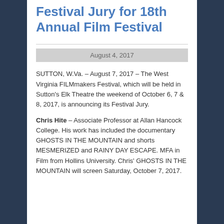Festival Jury for 18th Annual Film Festival
August 4, 2017
SUTTON, W.Va. – August 7, 2017 – The West Virginia FILMmakers Festival, which will be held in Sutton's Elk Theatre the weekend of October 6, 7 & 8, 2017, is announcing its Festival Jury.
Chris Hite – Associate Professor at Allan Hancock College. His work has included the documentary GHOSTS IN THE MOUNTAIN and shorts MESMERIZED and RAINY DAY ESCAPE. MFA in Film from Hollins University. Chris' GHOSTS IN THE MOUNTAIN will screen Saturday, October 7, 2017.